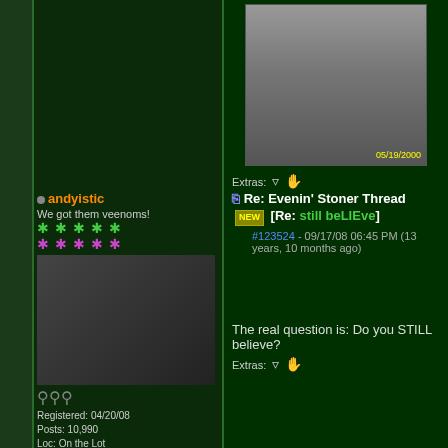[Figure (photo): Photo of a man in a black tank top, dated 05/19/2000]
Extras:
andyistic - Re: Evenin' Stoner Thread [NEW] [Re: still beLIEve]
#123524 - 09/17/08 06:45 PM (13 years, 10 months ago)
We got them veenoms!
[Figure (photo): Avatar of andyistic - person outdoors]
Registered: 04/20/08
Posts: 10,990
Loc: On the Lot
The real question is: Do you STILL believe?
Extras:
still beLIEve - Re: Evenin' Stoner Thread [NEW] [Re: andyistic]
#123525 - 09/17/08 06:57 PM (13 years, 10 months ago)
State Property..Again
well that all depends on what youre talking about believing in...